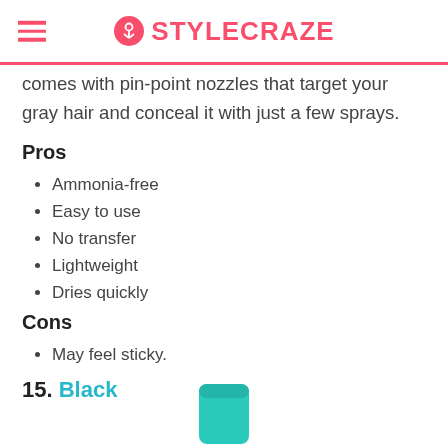STYLECRAZE
comes with pin-point nozzles that target your gray hair and conceal it with just a few sprays.
Pros
Ammonia-free
Easy to use
No transfer
Lightweight
Dries quickly
Cons
May feel sticky.
15. Black
[Figure (photo): Bottom portion of a teal/turquoise product bottle visible at bottom center of page]